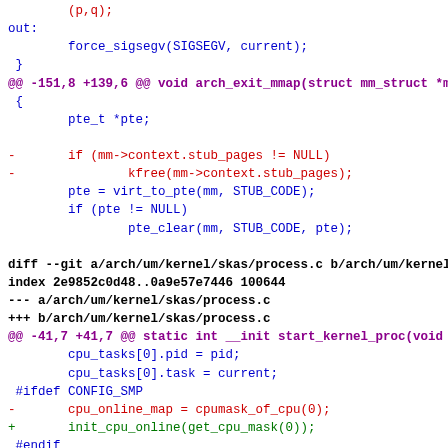Code diff showing changes to arch/um/kernel/skas/mmap.c and process.c files, including removal of stub_pages handling and replacement of cpu_online_map with init_cpu_online call.